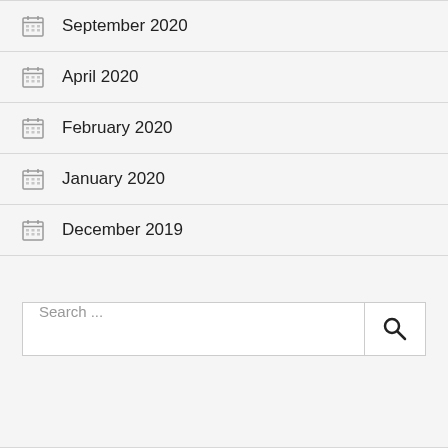September 2020
April 2020
February 2020
January 2020
December 2019
Search ...